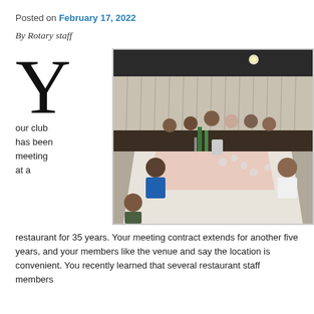Posted on February 17, 2022
By Rotary staff
[Figure (photo): Group of people seated around long tables in a restaurant/banquet hall setting, having a meeting. People are eating and talking.]
Your club has been meeting at a restaurant for 35 years. Your meeting contract extends for another five years, and your members like the venue and say the location is convenient. You recently learned that several restaurant staff members